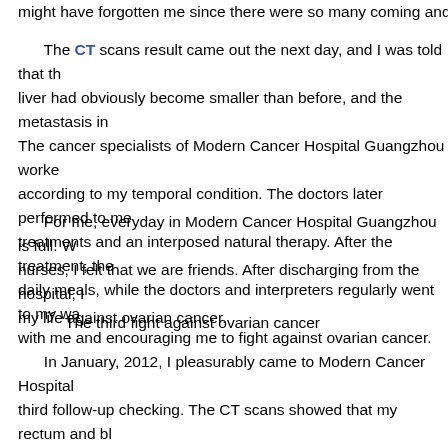might have forgotten me since there were so many coming and going...
The CT scans result came out the next day, and I was told that the liver had obviously become smaller than before, and the metastasis in... The cancer specialists of Modern Cancer Hospital Guangzhou worked according to my temporal condition. The doctors later performed to me treatments and an interposed natural therapy. After the treatment, the daily meals, while the doctors and interpreters regularly went to my wa... with me and encouraging me to fight against ovarian cancer.
For me, everyday in Modern Cancer Hospital Guangzhou is full. W... nurses, I felt that we are friends. After discharging from the hospital, I ... my life against ovarian cancer.
The third fight against ovarian cancer
In January, 2012, I pleasurably came to Modern Cancer Hospital ... third follow-up checking. The CT scans showed that my rectum and bl... cancer. Later, cancer specialists of Modern Cancer Hospital Guangzh... to me, after which serous papillary cystadenocarcinoma were found in... abdominal cavity and pelvic cavity. Even so, I was not scared, as I had... Modern Cancer Hospital Guangzhou can help me fight against it. Aft...